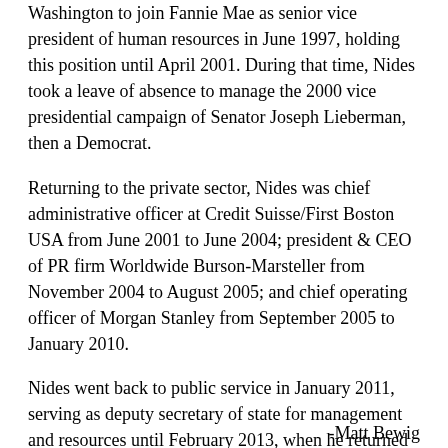Washington to join Fannie Mae as senior vice president of human resources in June 1997, holding this position until April 2001. During that time, Nides took a leave of absence to manage the 2000 vice presidential campaign of Senator Joseph Lieberman, then a Democrat.
Returning to the private sector, Nides was chief administrative officer at Credit Suisse/First Boston USA from June 2001 to June 2004; president & CEO of PR firm Worldwide Burson-Marsteller from November 2004 to August 2005; and chief operating officer of Morgan Stanley from September 2005 to January 2010.
Nides went back to public service in January 2011, serving as deputy secretary of state for management and resources until February 2013, when he returned to Morgan Stanley as vice chairman.
Nides serves on the board of the Urban Alliance Foundation and the Atlantic Council; he is also a member of the Council on Foreign Relations.
Thomas Nides and Virginia Moseley have been married since 1992. They have two children.
-Matt Bewig